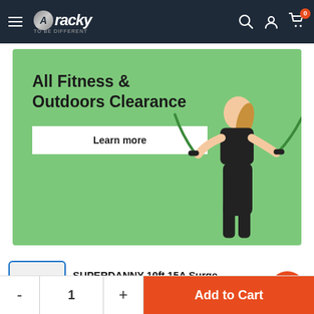Aracky — navigation bar with hamburger menu, logo, search, account, and cart icons
[Figure (illustration): Promotional banner with green background showing 'All Fitness & Outdoors Clearance' heading, a 'Learn more' button, and a woman exercising with resistance bands]
SUPERDANNY 10ft 15A Surge Protector Power Strip 6 Outlet 4 USB Ports
Add to Cart — quantity selector with - 1 + and orange Add to Cart button